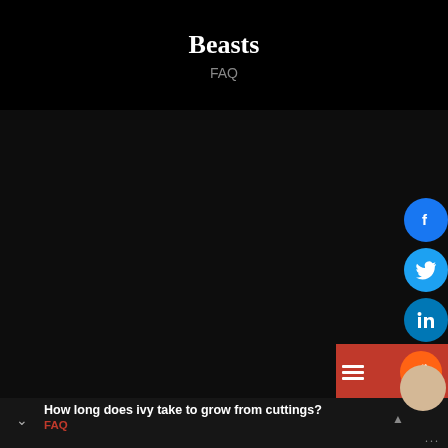Beasts
FAQ
[Figure (screenshot): Dark black background area with social sharing buttons on right side: Facebook (blue circle), Twitter (blue circle), LinkedIn (blue circle), Pinterest (red circle), Reddit (orange circle with red bar), WhatsApp (green circle), user avatar (tan circle). Bottom bar shows article preview.]
How long does ivy take to grow from cuttings?
FAQ